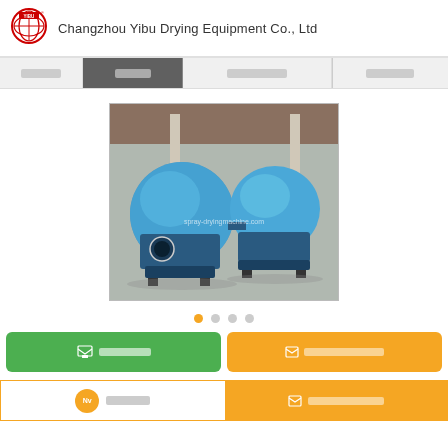Changzhou Yibu Drying Equipment Co., Ltd
[Figure (screenshot): Navigation bar with menu items including highlighted active tab]
[Figure (photo): Two large blue industrial drying machines (rotary dryers) in a factory warehouse with watermark spray-dryingmachine.com]
[Figure (other): Dot carousel indicator with 4 dots, first dot orange/active]
Green button with chat icon and redacted text (online chat)
Orange button with email icon and redacted text (send inquiry)
Bottom bar: chat button on left (orange circle avatar with Nv label and redacted text), email/send enquiry button on right (orange background)